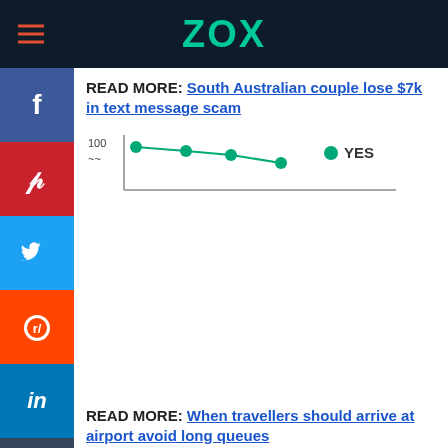ZOX
READ MORE: South Australian couple lose $7k in text message scam
[Figure (continuous-plot): Partial line chart showing a downward trending line with green dots and a YES legend label. Y-axis shows value around 100. The chart is partially obscured by the social media sidebar.]
[Figure (screenshot): Social media share buttons sidebar on the left: Facebook (blue), Pinterest (red), Twitter (light blue), Reddit (orange), LinkedIn (blue), Tumblr (dark), and a back navigation button (grey circle with left arrow).]
READ MORE: When travellers should arrive at airport avoid long queues